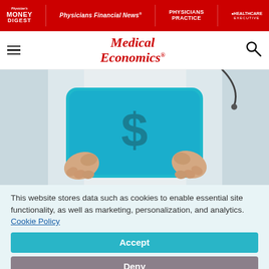Physician's Money Digest | Physicians Financial News | Physicians Practice | Healthcare Executive
Medical Economics
[Figure (photo): Person in white lab coat holding a teal/cyan folder or envelope with a dollar sign on it, suggesting physician finances or medical billing.]
This website stores data such as cookies to enable essential site functionality, as well as marketing, personalization, and analytics. Cookie Policy
Accept
Deny